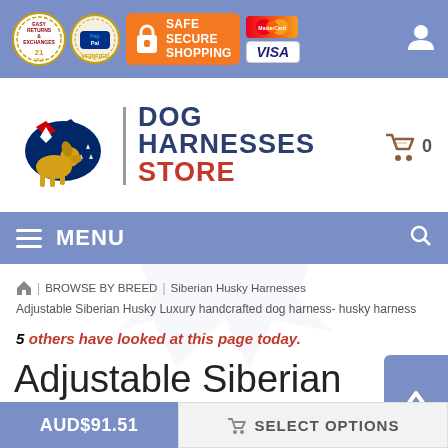Easy Returns & Exchanges | PayPal Verified | Safe Secure Shopping | MasterCard | VISA
[Figure (logo): Dog Harnesses Store logo with Australian map and dog silhouette]
DOG HARNESSES STORE
0 items in cart
MENU
Home | BROWSE BY BREED | Siberian Husky Harnesses
Adjustable Siberian Husky Luxury handcrafted dog harness- husky harness
5 others have looked at this page today.
Adjustable Siberian Husky Luxury handcrafted dog
AUD$91.51
SELECT OPTIONS